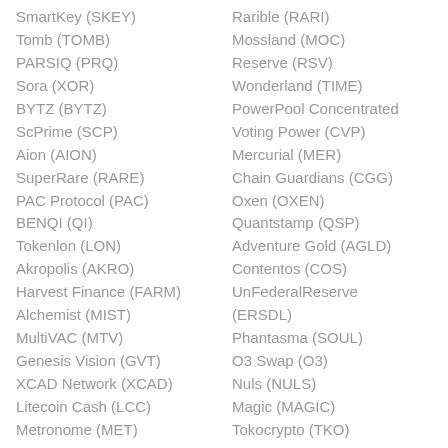SmartKey (SKEY)
Tomb (TOMB)
PARSIQ (PRQ)
Sora (XOR)
BYTZ (BYTZ)
ScPrime (SCP)
Aion (AION)
SuperRare (RARE)
PAC Protocol (PAC)
BENQI (QI)
Tokenlon (LON)
Akropolis (AKRO)
Harvest Finance (FARM)
Alchemist (MIST)
MultiVAC (MTV)
Genesis Vision (GVT)
XCAD Network (XCAD)
Litecoin Cash (LCC)
Metronome (MET)
Rarible (RARI)
Mossland (MOC)
Reserve (RSV)
Wonderland (TIME)
PowerPool Concentrated Voting Power (CVP)
Mercurial (MER)
Chain Guardians (CGG)
Oxen (OXEN)
Quantstamp (QSP)
Adventure Gold (AGLD)
Contentos (COS)
UnFederalReserve (ERSDL)
Phantasma (SOUL)
O3 Swap (O3)
Nuls (NULS)
Magic (MAGIC)
Tokocrypto (TKO)